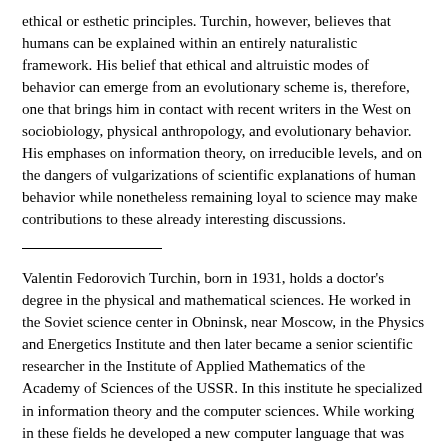ethical or esthetic principles. Turchin, however, believes that humans can be explained within an entirely naturalistic framework. His belief that ethical and altruistic modes of behavior can emerge from an evolutionary scheme is, therefore, one that brings him in contact with recent writers in the West on sociobiology, physical anthropology, and evolutionary behavior. His emphases on information theory, on irreducible levels, and on the dangers of vulgarizations of scientific explanations of human behavior while nonetheless remaining loyal to science may make contributions to these already interesting discussions.
Valentin Fedorovich Turchin, born in 1931, holds a doctor's degree in the physical and mathematical sciences. He worked in the Soviet science center in Obninsk, near Moscow, in the Physics and Energetics Institute and then later became a senior scientific researcher in the Institute of Applied Mathematics of the Academy of Sciences of the USSR. In this institute he specialized in information theory and the computer sciences. While working in these fields he developed a new computer language that was widely applied in the USSR, the "Refal" system. After 1973 he was the director of a laboratory in the Central Scientific-Research Institute for the Design of Automated Construction Systems. During his years of professional employment Dr. Turchin